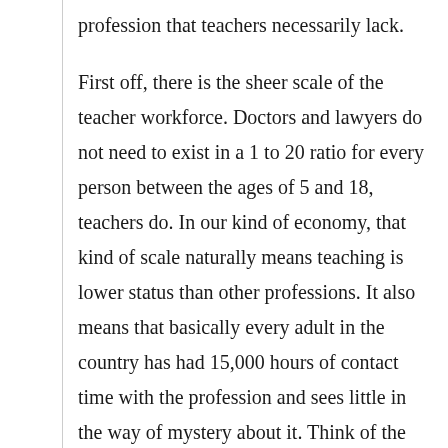profession that teachers necessarily lack.
First off, there is the sheer scale of the teacher workforce. Doctors and lawyers do not need to exist in a 1 to 20 ratio for every person between the ages of 5 and 18, teachers do. In our kind of economy, that kind of scale naturally means teaching is lower status than other professions. It also means that basically every adult in the country has had 15,000 hours of contact time with the profession and sees little in the way of mystery about it. Think of the mystique that lawyers and doctors and psychologists have about the inner workings of their professions, and then we have to accept that teachers cannot, indeed should not, have